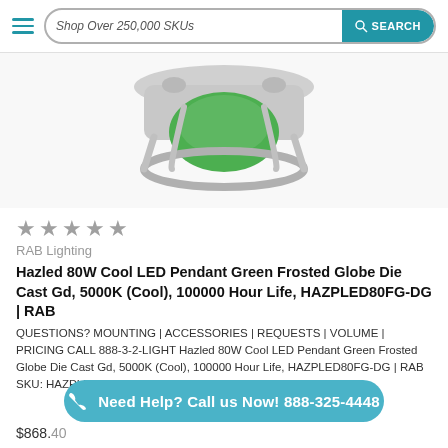Shop Over 250,000 SKUs  SEARCH
[Figure (photo): Product photo of Hazled 80W LED pendant light fixture with green frosted globe and gray die cast housing, viewed from below]
★★★★★
RAB Lighting
Hazled 80W Cool LED Pendant Green Frosted Globe Die Cast Gd, 5000K (Cool), 100000 Hour Life, HAZPLED80FG-DG | RAB
QUESTIONS? MOUNTING | ACCESSORIES | REQUESTS | VOLUME | PRICING CALL 888-3-2-LIGHT Hazled 80W Cool LED Pendant Green Frosted Globe Die Cast Gd, 5000K (Cool), 100000 Hour Life, HAZPLED80FG-DG | RAB SKU: HAZPLED80FG-DGUPC: 19813501475Watts: 80CCT: 5000K
Need Help? Call us Now! 888-325-4448
$868.40